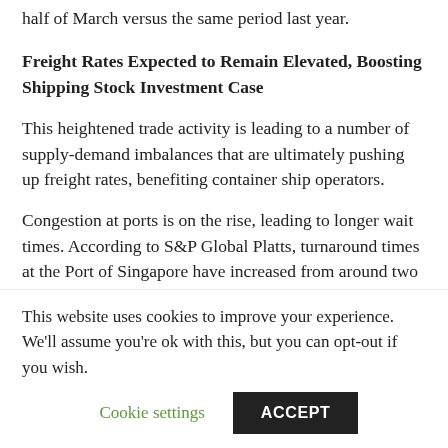half of March versus the same period last year.
Freight Rates Expected to Remain Elevated, Boosting Shipping Stock Investment Case
This heightened trade activity is leading to a number of supply-demand imbalances that are ultimately pushing up freight rates, benefiting container ship operators.
Congestion at ports is on the rise, leading to longer wait times. According to S&P Global Platts, turnaround times at the Port of Singapore have increased from around two days to as many as five or even seven days. Some retailers are reportedly paying
This website uses cookies to improve your experience. We'll assume you're ok with this, but you can opt-out if you wish.